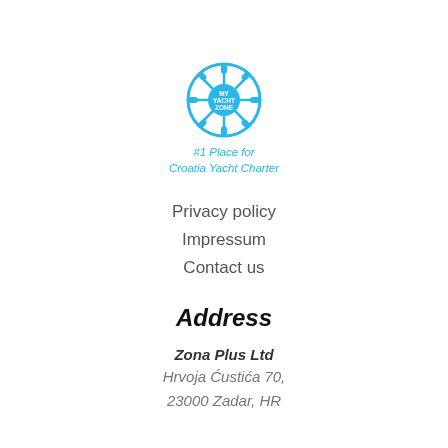[Figure (logo): Ship wheel / helm logo in blue with text 'MY YACHT ZONE' inside the wheel]
#1 Place for
Croatia Yacht Charter
Privacy policy
Impressum
Contact us
Address
Zona Plus Ltd
Hrvoja Ćustića 70,
23000 Zadar, HR
Contact